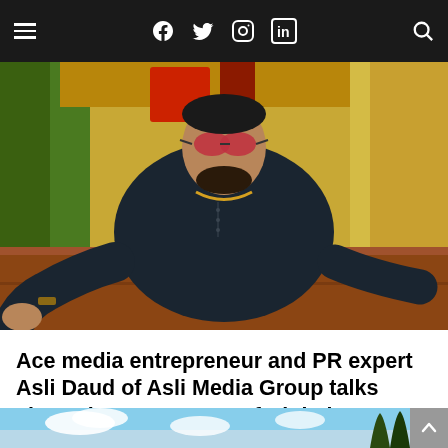≡  Facebook  Twitter  Instagram  LinkedIn  🔍
[Figure (photo): Man with sunglasses seated at a table in an outdoor setting with colorful background featuring reds, greens and yellows. He wears a dark shirt and gold chain.]
Ace media entrepreneur and PR expert Asli Daud of Asli Media Group talks about the Importance of Digital PR
[Figure (photo): Partial view of outdoor sky scene at bottom of page]